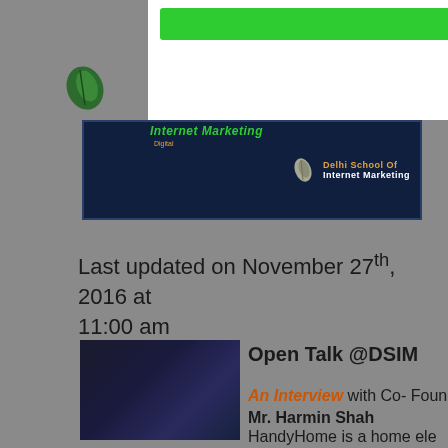[Figure (logo): Delhi School of Internet Marketing logo with green feather and dark navy banner]
Last updated on November 27th, 2016 at 11:00 am
[Figure (photo): Dark square thumbnail image for Open Talk @DSIM article]
Open Talk @DSIM
An Interview with Co- Founder Mr. Harmin Shah
HandyHome is a home ele...